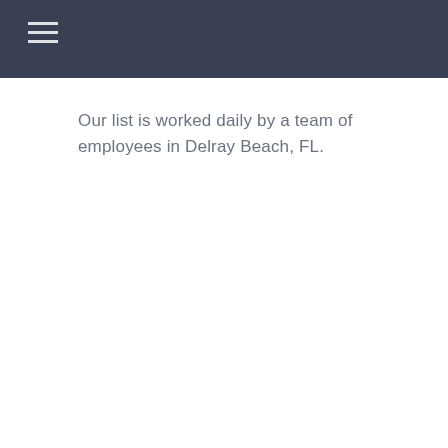Our list is worked daily by a team of employees in Delray Beach, FL.